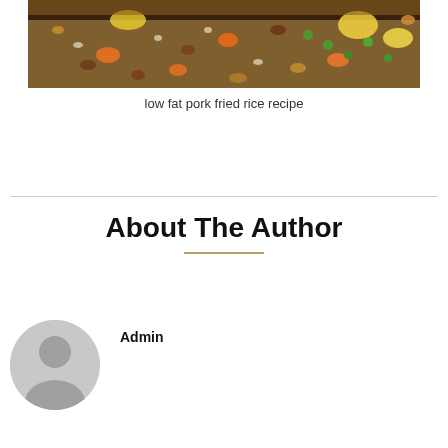[Figure (photo): A close-up photo of fried rice with vegetables including carrots, peas, and egg in a wok or pan]
low fat pork fried rice recipe
About The Author
Admin